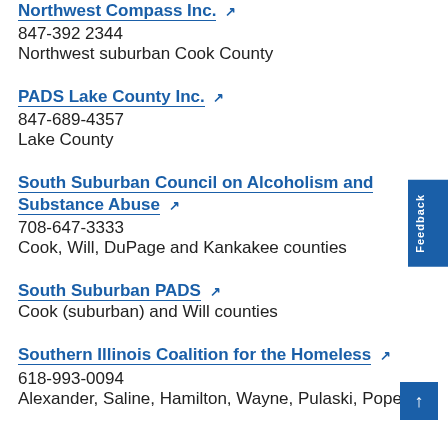Northwest Compass Inc.
847-392 2344
Northwest suburban Cook County
PADS Lake County Inc.
847-689-4357
Lake County
South Suburban Council on Alcoholism and Substance Abuse
708-647-3333
Cook, Will, DuPage and Kankakee counties
South Suburban PADS
Cook (suburban) and Will counties
Southern Illinois Coalition for the Homeless
618-993-0094
Alexander, Saline, Hamilton, Wayne, Pulaski, Pope,